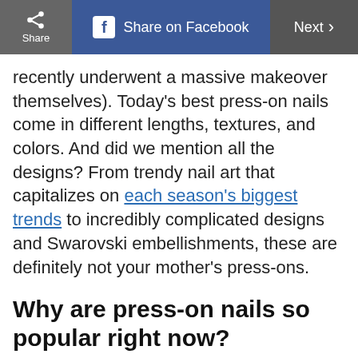Share | Share on Facebook | Next
recently underwent a massive makeover themselves). Today's best press-on nails come in different lengths, textures, and colors. And did we mention all the designs? From trendy nail art that capitalizes on each season's biggest trends to incredibly complicated designs and Swarovski embellishments, these are definitely not your mother's press-ons.
Why are press-on nails so popular right now?
[Figure (infographic): Advertisement banner for Leesburg Premium Outlets: Save Up to 65%]